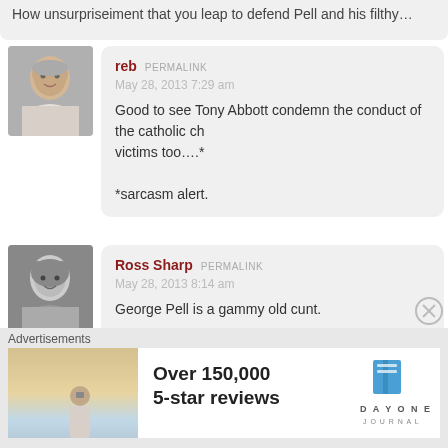How unsurpriseiment that you leap to defend Pell and his filthy...
reb PERMALINK
May 28, 2013 7:29 am

Good to see Tony Abbott condemn the conduct of the catholic ch... victims too....*

*sarcasm alert.
Ross Sharp PERMALINK
May 28, 2013 8:14 am

George Pell is a gammy old cunt.

There.
Advertisements
[Figure (screenshot): Advertisement banner for Day One Journal app showing 'Over 150,000 5-star reviews' with a person holding a phone against a scenic background and the Day One Journal logo.]